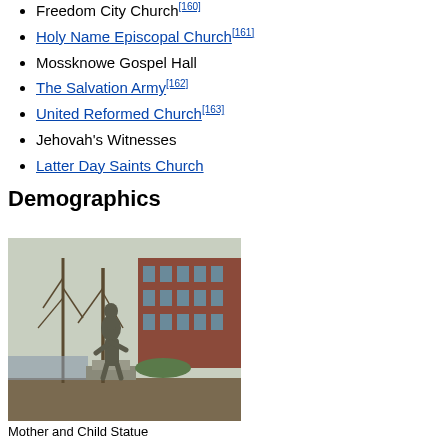Freedom City Church[160]
Holy Name Episcopal Church[161]
Mossknowe Gospel Hall
The Salvation Army[162]
United Reformed Church[163]
Jehovah's Witnesses
Latter Day Saints Church
Demographics
[Figure (photo): Outdoor bronze statue of a mother holding a child, with bare trees and a red brick building in the background.]
Mother and Child Statue